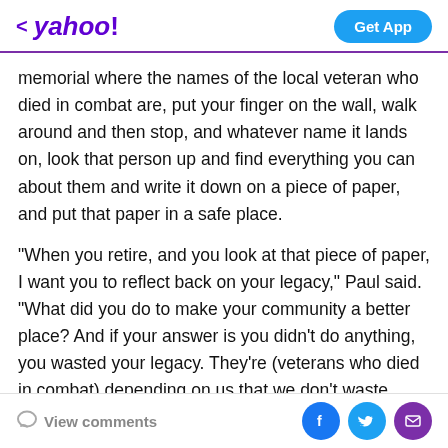< yahoo!   Get App
memorial where the names of the local veteran who died in combat are, put your finger on the wall, walk around and then stop, and whatever name it lands on, look that person up and find everything you can about them and write it down on a piece of paper, and put that paper in a safe place.
"When you retire, and you look at that piece of paper, I want you to reflect back on your legacy," Paul said. "What did you do to make your community a better place? And if your answer is you didn't do anything, you wasted your legacy. They're (veterans who died in combat) depending on us that we don't waste theirs. That's why we have this
View comments